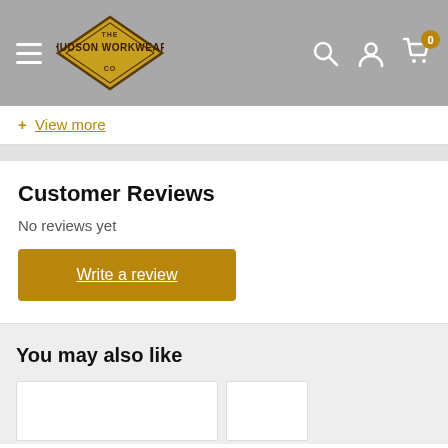The Hudson Workwear Co.
+ View more
Customer Reviews
No reviews yet
Write a review
You may also like